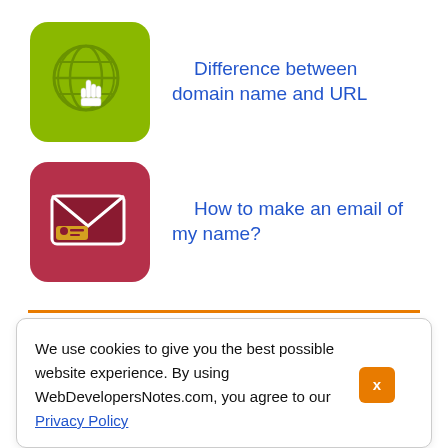[Figure (illustration): Green rounded square icon with a globe/grid and a hand cursor clicking on it]
Difference between domain name and URL
[Figure (illustration): Dark red/crimson rounded square icon with an envelope and a name badge/ID card]
How to make an email of my name?
YOUR COMMENTS
We use cookies to give you the best possible website experience. By using WebDevelopersNotes.com, you agree to our Privacy Policy